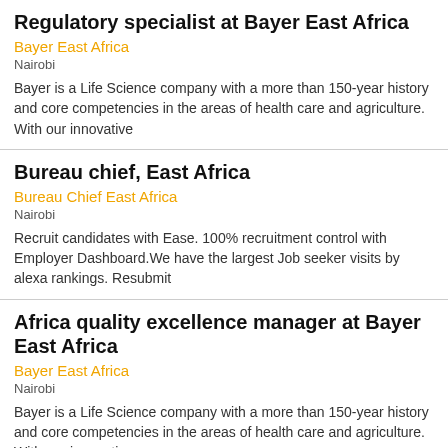Regulatory specialist at Bayer East Africa
Bayer East Africa
Nairobi
Bayer is a Life Science company with a more than 150-year history and core competencies in the areas of health care and agriculture. With our innovative
Bureau chief, East Africa
Bureau Chief East Africa
Nairobi
Recruit candidates with Ease. 100% recruitment control with Employer Dashboard.We have the largest Job seeker visits by alexa rankings. Resubmit
Africa quality excellence manager at Bayer East Africa
Bayer East Africa
Nairobi
Bayer is a Life Science company with a more than 150-year history and core competencies in the areas of health care and agriculture. With our innovative
Regulatory Specialist At Bayer East Africa
Bayer East Africa
Nairobi